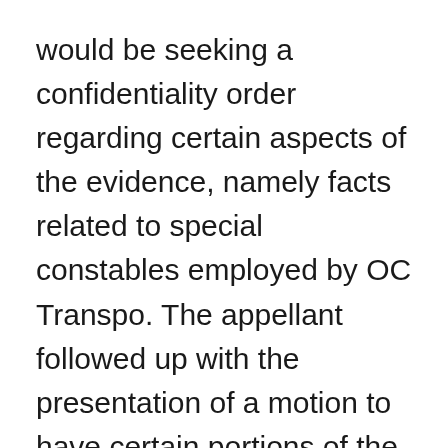would be seeking a confidentiality order regarding certain aspects of the evidence, namely facts related to special constables employed by OC Transpo. The appellant followed up with the presentation of a motion to have certain portions of the evidence held in camera, because of their possible implications on the security of the transit system and the safety of employees and passengers. After hearing the parties on the matter, I granted the motion and the confidentiality order and rendered a written interlocutory decision to that effect. My decision is attached to the present reasons